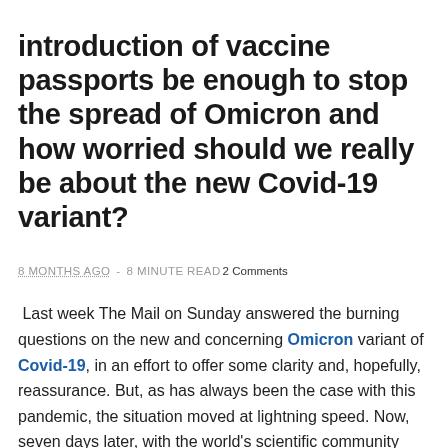introduction of vaccine passports be enough to stop the spread of Omicron and how worried should we really be about the new Covid-19 variant?
8 MONTHS AGO  -  8 MINUTE READ  2 Comments
Last week The Mail on Sunday answered the burning questions on the new and concerning Omicron variant of Covid-19, in an effort to offer some clarity and, hopefully, reassurance. But, as has always been the case with this pandemic, the situation moved at lightning speed. Now, seven days later, with the world's scientific community uncovering crucial